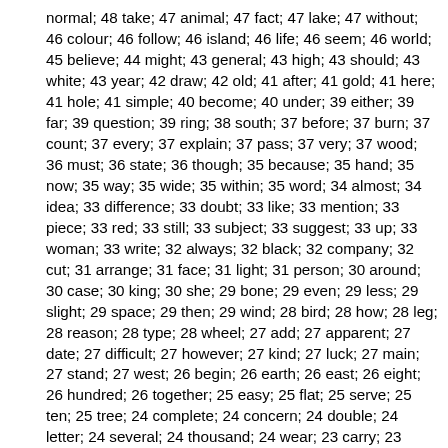normal; 48 take; 47 animal; 47 fact; 47 lake; 47 without; 46 colour; 46 follow; 46 island; 46 life; 46 seem; 46 world; 45 believe; 44 might; 43 general; 43 high; 43 should; 43 white; 43 year; 42 draw; 42 old; 41 after; 41 gold; 41 here; 41 hole; 41 simple; 40 become; 40 under; 39 either; 39 far; 39 question; 39 ring; 38 south; 37 before; 37 burn; 37 count; 37 every; 37 explain; 37 pass; 37 very; 37 wood; 36 must; 36 state; 36 though; 35 because; 35 hand; 35 now; 35 way; 35 wide; 35 within; 35 word; 34 almost; 34 idea; 33 difference; 33 doubt; 33 like; 33 mention; 33 piece; 33 red; 33 still; 33 subject; 33 suggest; 33 up; 33 woman; 33 write; 32 always; 32 black; 32 company; 32 cut; 31 arrange; 31 face; 31 light; 31 person; 30 around; 30 case; 30 king; 30 she; 29 bone; 29 even; 29 less; 29 slight; 29 space; 29 then; 29 wind; 28 bird; 28 how; 28 leg; 28 reason; 28 type; 28 wheel; 27 add; 27 apparent; 27 date; 27 difficult; 27 however; 27 kind; 27 luck; 27 main; 27 stand; 27 west; 26 begin; 26 earth; 26 east; 26 eight; 26 hundred; 26 together; 25 easy; 25 flat; 25 serve; 25 ten; 25 tree; 24 complete; 24 concern; 24 double; 24 letter; 24 several; 24 thousand; 24 wear; 23 carry; 23 could; 23 field; 23 never; 23 quarter; 23 shape; 23 view; 22 base; 22 bring; 22 corner; 22 definite; 22 except; 22 group; 22 hill; 22 hold; 22 last; 22 lay; 22 mountain; 22 stage; 21 able; 21 accept; 21 think; 21 toward; 21 until; 20 back; 20 down; 20 interest; 20 little; 20